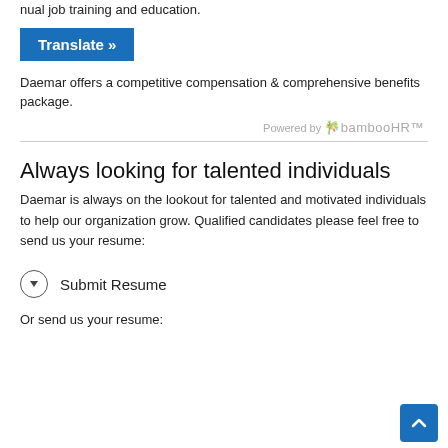nual job training and education.
Translate »
Daemar offers a competitive compensation & comprehensive benefits package.
Powered by bambooHR
Always looking for talented individuals
Daemar is always on the lookout for talented and motivated individuals to help our organization grow. Qualified candidates please feel free to send us your resume:
Submit Resume
Or send us your resume: